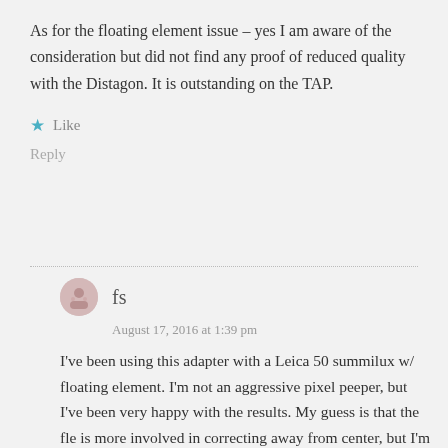As for the floating element issue – yes I am aware of the consideration but did not find any proof of reduced quality with the Distagon. It is outstanding on the TAP.
Like
Reply
fs
August 17, 2016 at 1:39 pm
I've been using this adapter with a Leica 50 summilux w/ floating element. I'm not an aggressive pixel peeper, but I've been very happy with the results. My guess is that the fle is more involved in correcting away from center, but I'm not sure. I shoot a lot of people pics wide open where most of the frame is